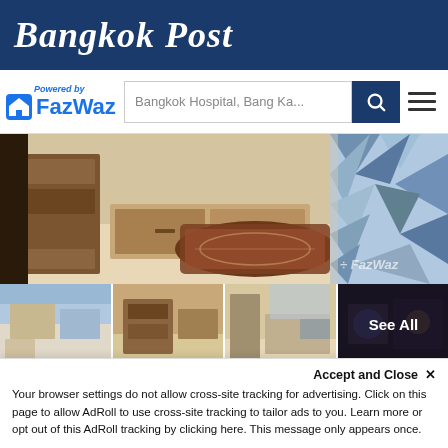Bangkok Post
[Figure (logo): FazWaz logo with 'Powered by' text, search bar showing 'Bangkok Hospital, Bang Ka...', search button, and hamburger menu]
[Figure (photo): Main interior photo of a furnished condo room with wooden shelving, TV stand, decorative rug, and geometric patterned bedding. FazWaz watermark visible.]
[Figure (photo): Four thumbnail photos of the condo interior plus a 'See All' dark overlay tile]
1 Bedroom Condo for sale at The Niche Pride Thonglor-Phetchaburi
This is your lucky day! Check online, and you will see that this is the cheapest one-bedroom condo at Niche Pride and it is priced to sell now. It is fully furnished and ready for immediate occupancy....
Accept and Close ✕
Your browser settings do not allow cross-site tracking for advertising. Click on this page to allow AdRoll to use cross-site tracking to tailor ads to you. Learn more or opt out of this AdRoll tracking by clicking here. This message only appears once.